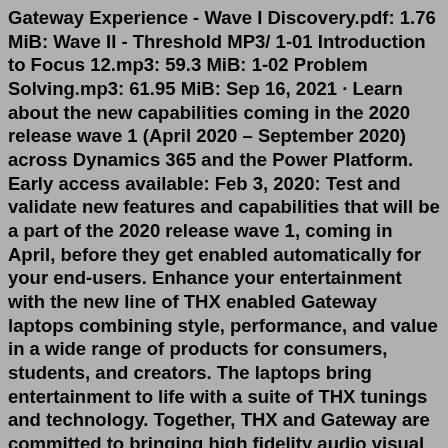Gateway Experience - Wave I Discovery.pdf: 1.76 MiB: Wave II - Threshold MP3/ 1-01 Introduction to Focus 12.mp3: 59.3 MiB: 1-02 Problem Solving.mp3: 61.95 MiB: Sep 16, 2021 · Learn about the new capabilities coming in the 2020 release wave 1 (April 2020 – September 2020) across Dynamics 365 and the Power Platform. Early access available: Feb 3, 2020: Test and validate new features and capabilities that will be a part of the 2020 release wave 1, coming in April, before they get enabled automatically for your end-users. Enhance your entertainment with the new line of THX enabled Gateway laptops combining style, performance, and value in a wide range of products for consumers, students, and creators. The laptops bring entertainment to life with a suite of THX tunings and technology. Together, THX and Gateway are committed to bringing high fidelity audio visual ... The Gateway Experience is a system of training in personal development. It is not a form of psychotherapy, philosophy, religion, or medical